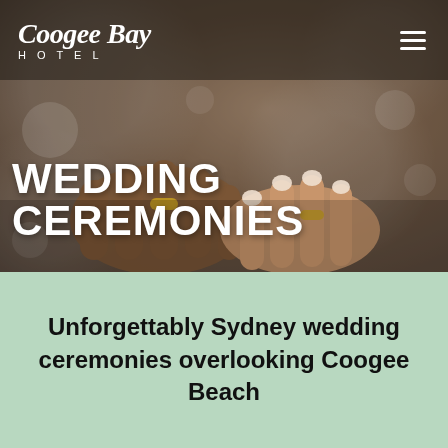[Figure (photo): Close-up photo of two hands clasped together with rings, wedding setting, bokeh background. Coogee Bay Hotel hero image for Wedding Ceremonies page.]
Coogee Bay Hotel
WEDDING CEREMONIES
Unforgettably Sydney wedding ceremonies overlooking Coogee Beach